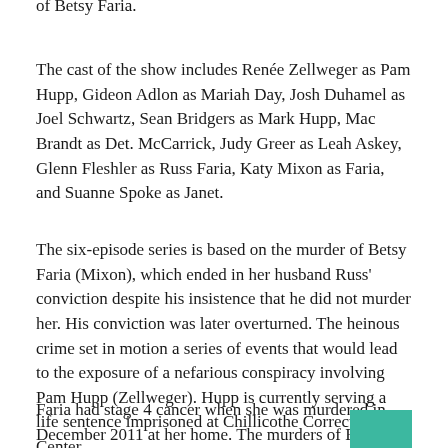of Betsy Faria.
The cast of the show includes Renée Zellweger as Pam Hupp, Gideon Adlon as Mariah Day, Josh Duhamel as Joel Schwartz, Sean Bridgers as Mark Hupp, Mac Brandt as Det. McCarrick, Judy Greer as Leah Askey, Glenn Fleshler as Russ Faria, Katy Mixon as Faria, and Suanne Spoke as Janet.
The six-episode series is based on the murder of Betsy Faria (Mixon), which ended in her husband Russ' conviction despite his insistence that he did not murder her. His conviction was later overturned. The heinous crime set in motion a series of events that would lead to the exposure of a nefarious conspiracy involving Pam Hupp (Zellweger). Hupp is currently serving a life sentence imprisoned at Chillicothe Correctional Center.
Faria had stage 4 cancer when she was murdered in December 2011 at her home. The murders of Betsy Faria...